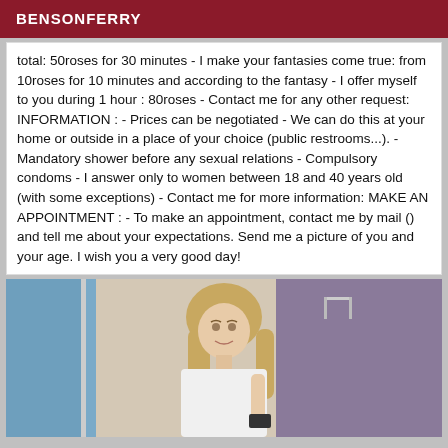BENSONFERRY
total: 50roses for 30 minutes - I make your fantasies come true: from 10roses for 10 minutes and according to the fantasy - I offer myself to you during 1 hour : 80roses - Contact me for any other request: INFORMATION : - Prices can be negotiated - We can do this at your home or outside in a place of your choice (public restrooms...). - Mandatory shower before any sexual relations - Compulsory condoms - I answer only to women between 18 and 40 years old (with some exceptions) - Contact me for more information: MAKE AN APPOINTMENT : - To make an appointment, contact me by mail () and tell me about your expectations. Send me a picture of you and your age. I wish you a very good day!
[Figure (photo): Photo of a woman with blonde hair taking a selfie in a bathroom mirror, purple wall visible in background]